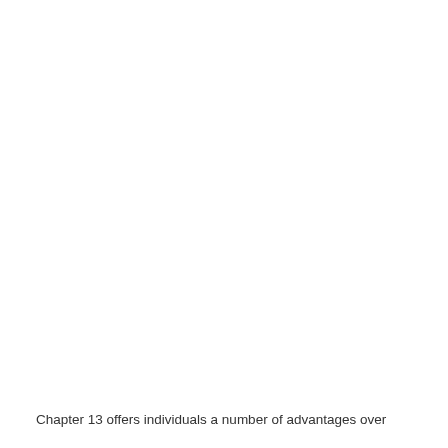Chapter 13 offers individuals a number of advantages over